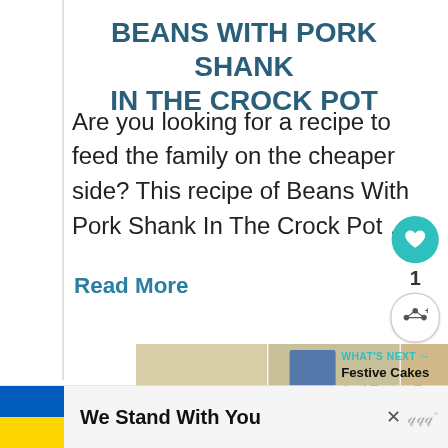BEANS WITH PORK SHANK IN THE CROCK POT
Are you looking for a recipe to feed the family on the cheaper side? This recipe of Beans With Pork Shank In The Crock Pot …
Read More
[Figure (photo): Grid of food photos showing beans with pork shank dishes]
WHAT'S NEXT → Festive Cakes And Tortes F...
We Stand With You